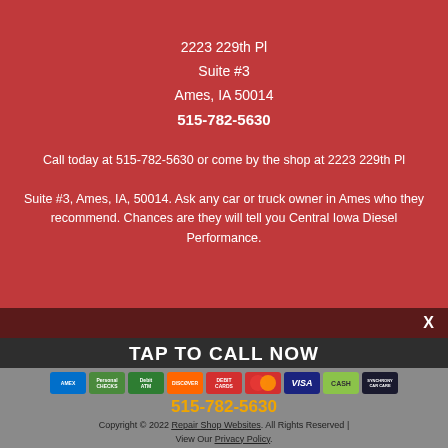2223 229th Pl
Suite #3
Ames, IA 50014
515-782-5630
Call today at 515-782-5630 or come by the shop at 2223 229th Pl Suite #3, Ames, IA, 50014. Ask any car or truck owner in Ames who they recommend. Chances are they will tell you Central Iowa Diesel Performance.
TAP TO CALL NOW
[Figure (other): Payment method icons: American Express, Personal Checks, Debit/ATM, Discover, Debit Cards, Mastercard, Visa, Cash, Synchrony Car Care]
515-782-5630
Copyright © 2022 Repair Shop Websites. All Rights Reserved | View Our Privacy Policy.